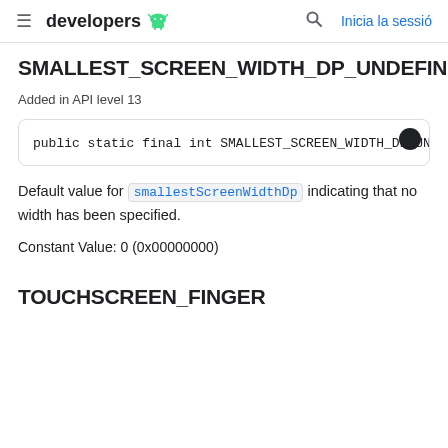developers  Inicia la sessió
SMALLEST_SCREEN_WIDTH_DP_UNDEFINED
Added in API level 13
Default value for smallestScreenWidthDp indicating that no width has been specified.
Constant Value: 0 (0x00000000)
TOUCHSCREEN_FINGER